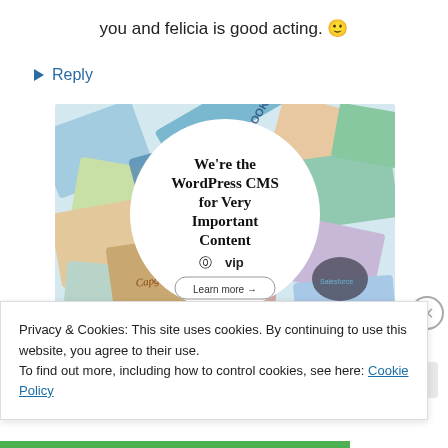you and felicia is good acting. 🙂
↪ Reply
[Figure (illustration): WordPress VIP advertisement showing colorful brand logos/cards in background with a white circle in center containing text 'We're the WordPress CMS for Very Important Content' with WordPress VIP logo and 'Learn more →' button]
Privacy & Cookies: This site uses cookies. By continuing to use this website, you agree to their use.
To find out more, including how to control cookies, see here: Cookie Policy